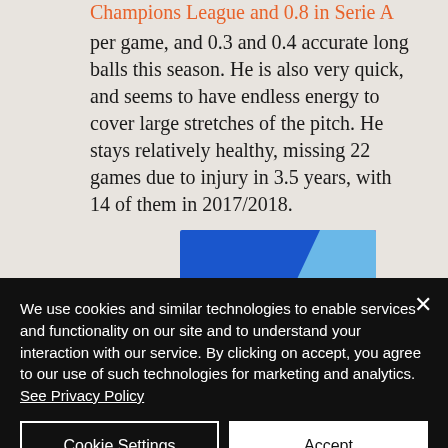Champions League and 0.8 in Serie A per game, and 0.3 and 0.4 accurate long balls this season. He is also very quick, and seems to have endless energy to cover large stretches of the pitch. He stays relatively healthy, missing 22 games due to injury in 3.5 years, with 14 of them in 2017/2018.
[Figure (other): Airship advertisement banner with blue and pink geometric design and Airship logo]
We use cookies and similar technologies to enable services and functionality on our site and to understand your interaction with our service. By clicking on accept, you agree to our use of such technologies for marketing and analytics. See Privacy Policy